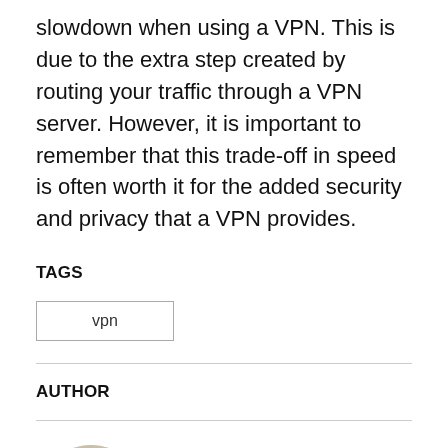slowdown when using a VPN. This is due to the extra step created by routing your traffic through a VPN server. However, it is important to remember that this trade-off in speed is often worth it for the added security and privacy that a VPN provides.
TAGS
vpn
AUTHOR
Cristina POPOV